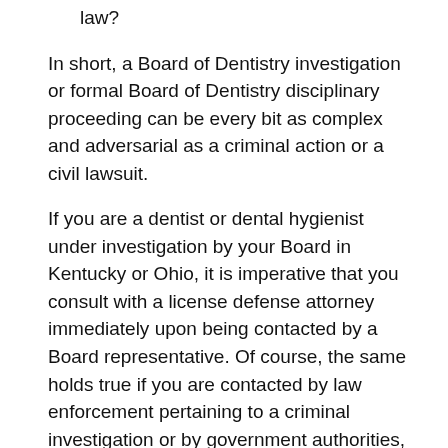law?
In short, a Board of Dentistry investigation or formal Board of Dentistry disciplinary proceeding can be every bit as complex and adversarial as a criminal action or a civil lawsuit.
If you are a dentist or dental hygienist under investigation by your Board in Kentucky or Ohio, it is imperative that you consult with a license defense attorney immediately upon being contacted by a Board representative. Of course, the same holds true if you are contacted by law enforcement pertaining to a criminal investigation or by government authorities, such as the Drug Enforcement Agency (DEA).
You should never make any statements to a Board investigator, law enforcement officer or other government